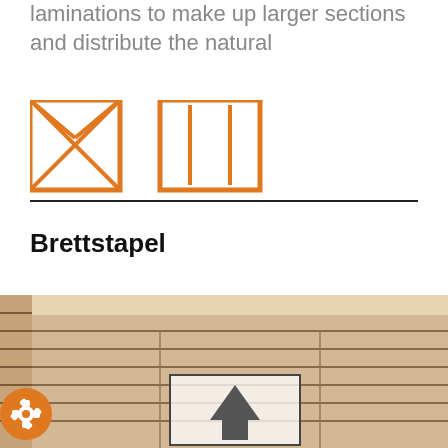laminations to make up larger sections and distribute the natural
[Figure (illustration): Two orange-outlined icons: left is an envelope/cross-lamination diagram, right is a vertical lamination pattern diagram]
Brettstapel
[Figure (photo): Photograph of a Brettstapel (mass timber / dowel-laminated timber) wooden block construction showing stacked boards with visible dowels, with an upward arrow navigation icon overlaid]